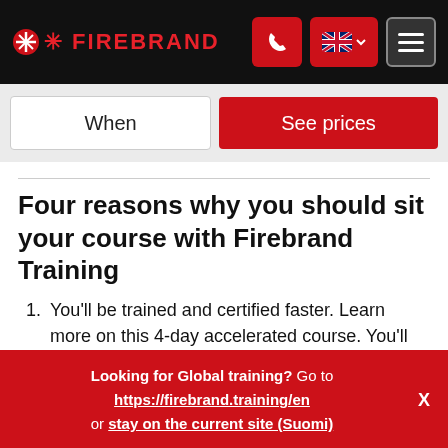FIREBRAND
When | See prices
Four reasons why you should sit your course with Firebrand Training
You'll be trained and certified faster. Learn more on this 4-day accelerated course. You'll get at least 12 hours a day of quality learning time in a distraction-
Looking for Global training? Go to https://firebrand.training/en or stay on the current site (Suomi)  X